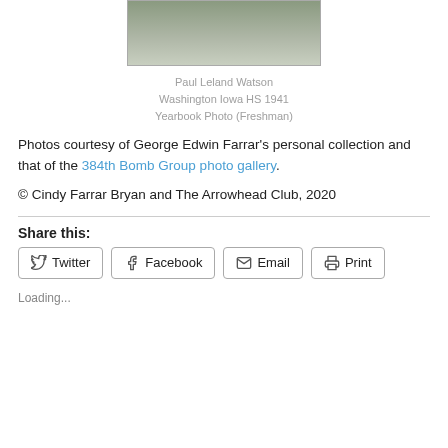[Figure (photo): Black and white yearbook photo of Paul Leland Watson, partially cropped at top]
Paul Leland Watson
Washington Iowa HS 1941
Yearbook Photo (Freshman)
Photos courtesy of George Edwin Farrar's personal collection and that of the 384th Bomb Group photo gallery.
© Cindy Farrar Bryan and The Arrowhead Club, 2020
Share this:
Twitter Facebook Email Print
Loading...